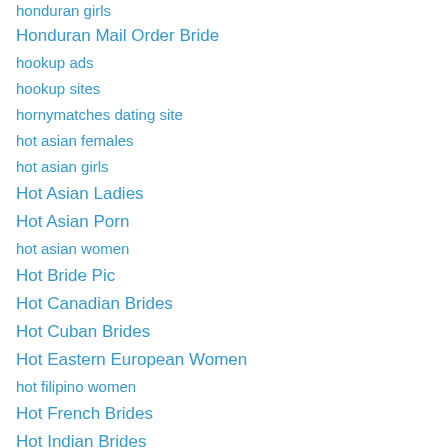honduran girls
Honduran Mail Order Bride
hookup ads
hookup sites
hornymatches dating site
hot asian females
hot asian girls
Hot Asian Ladies
Hot Asian Porn
hot asian women
Hot Bride Pic
Hot Canadian Brides
Hot Cuban Brides
Hot Eastern European Women
hot filipino women
Hot French Brides
Hot Indian Brides